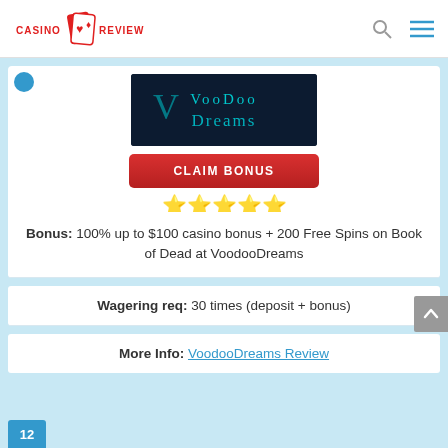CASINO REVIEWS
[Figure (logo): VoodooDreams casino logo on dark blue background]
CLAIM BONUS
[Figure (other): 5 gold star rating]
Bonus: 100% up to $100 casino bonus + 200 Free Spins on Book of Dead at VoodooDreams
Wagering req: 30 times (deposit + bonus)
More Info: VoodooDreams Review